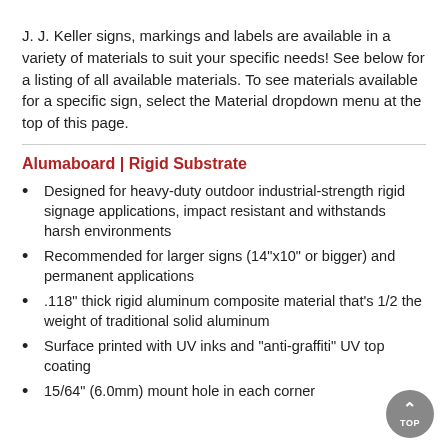J. J. Keller signs, markings and labels are available in a variety of materials to suit your specific needs! See below for a listing of all available materials. To see materials available for a specific sign, select the Material dropdown menu at the top of this page.
Alumaboard | Rigid Substrate
Designed for heavy-duty outdoor industrial-strength rigid signage applications, impact resistant and withstands harsh environments
Recommended for larger signs (14"x10" or bigger) and permanent applications
.118" thick rigid aluminum composite material that's 1/2 the weight of traditional solid aluminum
Surface printed with UV inks and "anti-graffiti" UV top coating
15/64" (6.0mm) mount hole in each corner